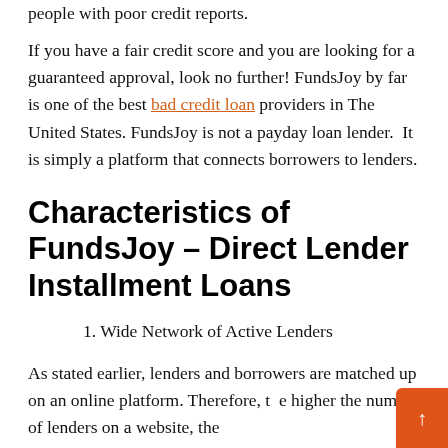people with poor credit reports.
If you have a fair credit score and you are looking for a guaranteed approval, look no further! FundsJoy by far is one of the best bad credit loan providers in The United States. FundsJoy is not a payday loan lender.  It is simply a platform that connects borrowers to lenders.
Characteristics of FundsJoy – Direct Lender Installment Loans
1. Wide Network of Active Lenders
As stated earlier, lenders and borrowers are matched up on an online platform. Therefore, the higher the number of lenders on a website, the